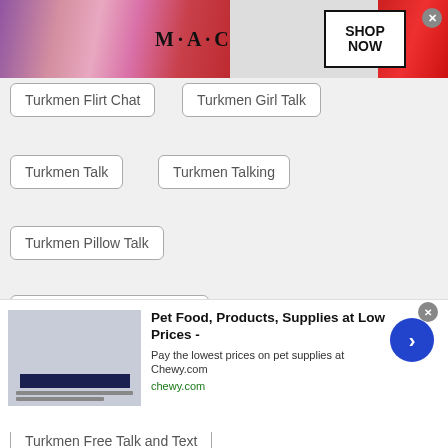[Figure (screenshot): MAC cosmetics advertisement banner with lipsticks and SHOP NOW button]
Turkmen Flirt Chat
Turkmen Girl Talk
Turkmen Talk
Turkmen Talking
Turkmen Pillow Talk
Turkmen Meet New People
Turkmen Fun Chat
Turkmen Text Strangers
Turkmen Free Talk and Text
Turkmen Latin Chat
Turkmen Talk to Someone
[Figure (screenshot): Chewy.com advertisement: Pet Food, Products, Supplies at Low Prices - Pay the lowest prices on pet supplies at Chewy.com]